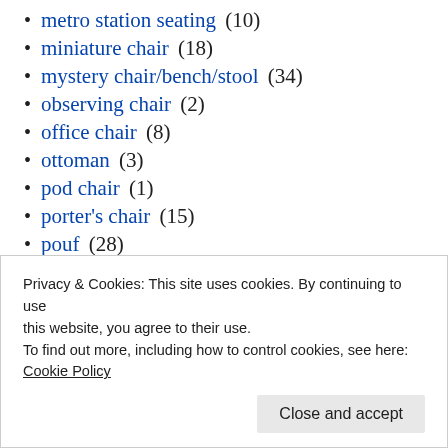metro station seating (10)
miniature chair (18)
mystery chair/bench/stool (34)
observing chair (2)
office chair (8)
ottoman (3)
pod chair (1)
porter's chair (15)
pouf (28)
puzzle chair (27)
recombined chair (8)
seating chair (5)
Privacy & Cookies: This site uses cookies. By continuing to use this website, you agree to their use.
To find out more, including how to control cookies, see here:
Cookie Policy
Close and accept